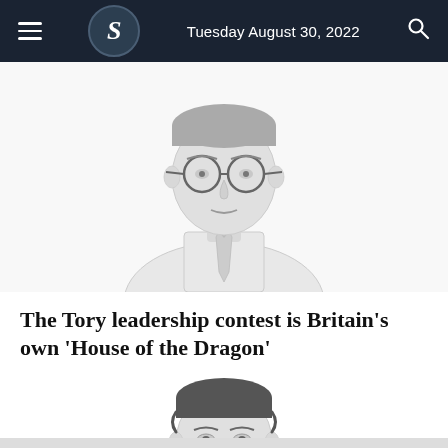Tuesday August 30, 2022
[Figure (illustration): Grayscale line illustration of a man with round glasses and a tie, shown from shoulders up, partial crop at top of page]
The Tory leadership contest is Britain’s own ‘House of the Dragon’
58m | Thoughts
[Figure (illustration): Grayscale line illustration of a younger man with dark curly hair, shown from shoulders up, partially cropped at bottom of page]